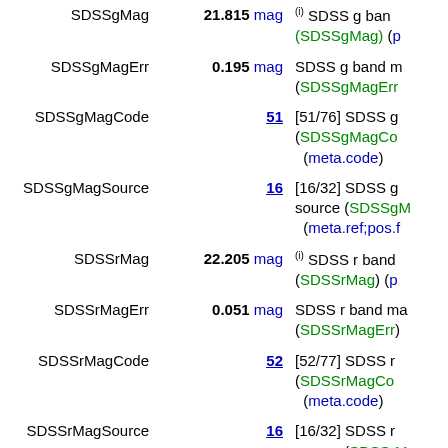| Name | Value | Description |
| --- | --- | --- |
| SDSSgMag | 21.815 mag | (i) SDSS g band ... (SDSSgMag) (p... |
| SDSSgMagErr | 0.195 mag | SDSS g band m... (SDSSgMagErr... |
| SDSSgMagCode | 51 | [51/76] SDSS g... (SDSSgMagCo... (meta.code) |
| SDSSgMagSource | 16 | [16/32] SDSS g... source (SDSSgM... (meta.ref;pos.f... |
| SDSSrMag | 22.205 mag | (i) SDSS r band... (SDSSrMag) (p... |
| SDSSrMagErr | 0.051 mag | SDSS r band ma... (SDSSrMagErr) |
| SDSSrMagCode | 52 | [52/77] SDSS r... (SDSSrMagCo... (meta.code) |
| SDSSrMagSource | 16 | [16/32] SDSS r... source (SDSSrM... (meta.ref;pos.f... |
| SDSSiMag | 21.426 mag | (i) SDSS i band... (SDSSiMag) (p... |
| SDSSiMagErr | 0.153 mag | SDSS i band ma... |